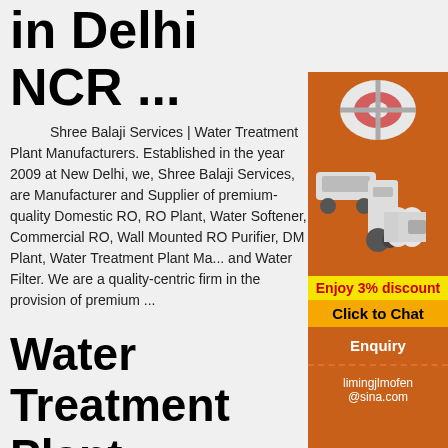in Delhi NCR ...
Shree Balaji Services | Water Treatment Plant Manufacturers. Established in the year 2009 at New Delhi, we, Shree Balaji Services, are Manufacturer and Supplier of premium-quality Domestic RO, RO Plant, Water Softener, Commercial RO, Wall Mounted RO Purifier, DM Plant, Water Treatment Plant Ma... and Water Filter. We are a quality-centric firm in the provision of premium ...
Water Treatment Plant Manufacturers,Ef Treatment ...
Welcome to PERVEL, Contact Us:+91-9841858710, +91- 9444898979, E-mail:pervelsolutions@gmail. We are doing Water
[Figure (illustration): Orange sidebar advertisement showing industrial machinery (crushers/mills) with text: Enjoy 3% discount, Click to Chat, Enquiry, limingjlmofen@sina.com]